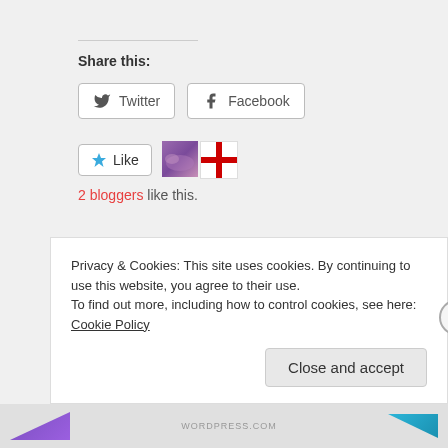Share this:
Twitter  Facebook
Like  2 bloggers like this.
Related
What Was There Before the Hogwarts
Suspension Bridge & Gryffindor Girls'
Privacy & Cookies: This site uses cookies. By continuing to use this website, you agree to their use. To find out more, including how to control cookies, see here: Cookie Policy
Close and accept